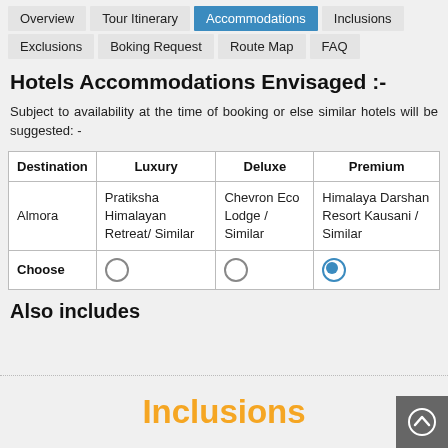Overview | Tour Itinerary | Accommodations | Inclusions | Exclusions | Boking Request | Route Map | FAQ
Hotels Accommodations Envisaged :-
Subject to availability at the time of booking or else similar hotels will be suggested: -
| Destination | Luxury | Deluxe | Premium |
| --- | --- | --- | --- |
| Almora | Pratiksha Himalayan Retreat/ Similar | Chevron Eco Lodge / Similar | Himalaya Darshan Resort Kausani / Similar |
| Choose | ○ | ○ | ◉ |
Also includes
Inclusions